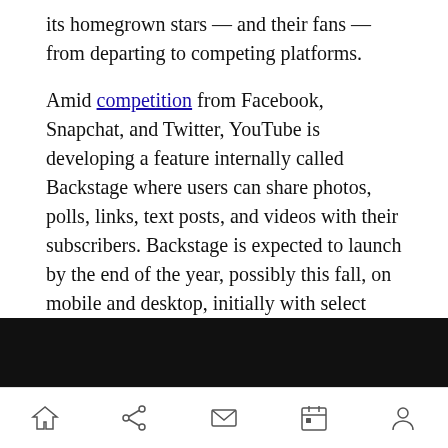its homegrown stars — and their fans — from departing to competing platforms.
Amid competition from Facebook, Snapchat, and Twitter, YouTube is developing a feature internally called Backstage where users can share photos, polls, links, text posts, and videos with their subscribers. Backstage is expected to launch by the end of the year, possibly this fall, on mobile and desktop, initially with select popular YouTube accounts and with limited features, VentureBeat has learned.